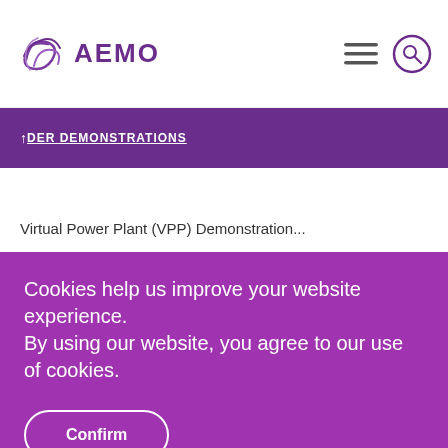[Figure (logo): AEMO logo with stylized purple wave/swirl icon and AEMO text in purple]
↑ DER DEMONSTRATIONS
Virtual Power Plant (VPP) Demonstration...
Cookies help us improve your website experience.
By using our website, you agree to our use of cookies.
Confirm